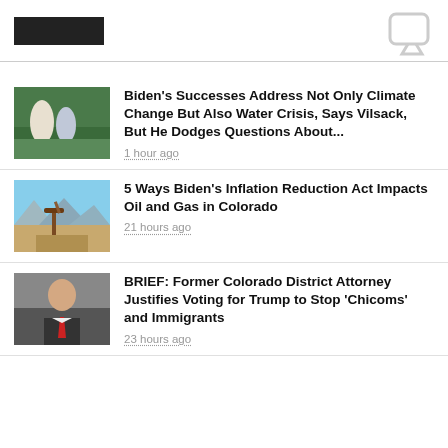[Figure (screenshot): Top banner with dark logo bar on left and phone/share icon on right]
[Figure (photo): Two men walking outdoors in a green field, one in a white shirt, one in a blue jacket]
Biden's Successes Address Not Only Climate Change But Also Water Crisis, Says Vilsack, But He Dodges Questions About...
1 hour ago
[Figure (photo): Oil pumpjack in a field with mountains and blue sky in background]
5 Ways Biden's Inflation Reduction Act Impacts Oil and Gas in Colorado
21 hours ago
[Figure (photo): Man in a suit with red tie standing indoors]
BRIEF: Former Colorado District Attorney Justifies Voting for Trump to Stop ‘Chicoms’ and Immigrants
23 hours ago